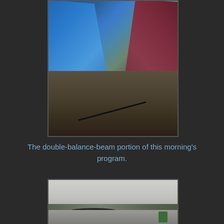[Figure (photo): A narrow corridor or aisle between two large covered objects — a blue tarp on the left and a maroon/dark red tarp on the right — viewed from above looking down the corridor. A cable or wire runs along the floor. The floor appears to be a dark, damp surface.]
The double-balance-beam portion of this morning's program.
[Figure (photo): A misty/foggy outdoor scene showing a flat, grey landscape with a low horizon line. There are dark shapes in the middle distance and a green object visible at the lower right. The sky is overcast and grey.]